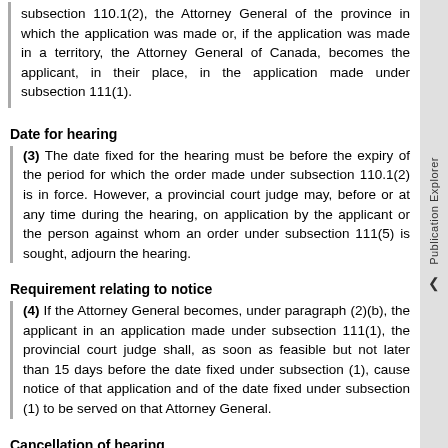subsection 110.1(2), the Attorney General of the province in which the application was made or, if the application was made in a territory, the Attorney General of Canada, becomes the applicant, in their place, in the application made under subsection 111(1).
Date for hearing
(3) The date fixed for the hearing must be before the expiry of the period for which the order made under subsection 110.1(2) is in force. However, a provincial court judge may, before or at any time during the hearing, on application by the applicant or the person against whom an order under subsection 111(5) is sought, adjourn the hearing.
Requirement relating to notice
(4) If the Attorney General becomes, under paragraph (2)(b), the applicant in an application made under subsection 111(1), the provincial court judge shall, as soon as feasible but not later than 15 days before the date fixed under subsection (1), cause notice of that application and of the date fixed under subsection (1) to be served on that Attorney General.
Cancellation of hearing
(5) If a provincial court judge revokes an order made under subsection 110.1(2) against a person before the application for an